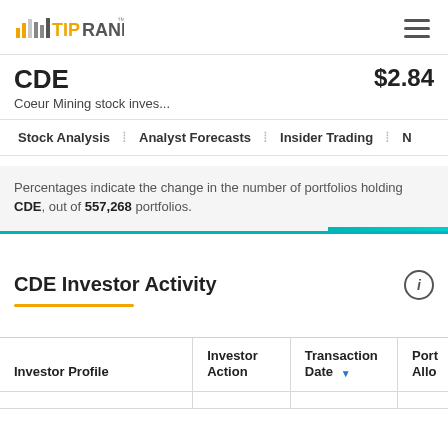TipRanks
CDE  $2.84
Coeur Mining stock inves...
Stock Analysis  Analyst Forecasts  Insider Trading  N
Percentages indicate the change in the number of portfolios holding CDE, out of 557,268 portfolios.
CDE Investor Activity
| Investor Profile | Investor Action | Transaction Date | Port Allo |
| --- | --- | --- | --- |
|  |  |  |  |